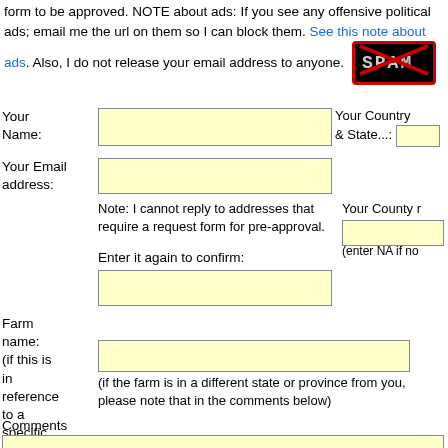form to be approved. NOTE about ads: If you see any offensive political ads; email me the url on them so I can block them. See this note about ads. Also, I do not release your email address to anyone. [SPAM image]
Your Name: [input field] Your Country & State...: [dropdown]
Your Email address: [input field]
Note: I cannot reply to addresses that require a request form for pre-approval.
Enter it again to confirm: [input field]
Your County [input field] (enter NA if no
Farm name: (if this is in reference to a specific farm) [input field] (if the farm is in a different state or province from you, please note that in the comments below)
Comments